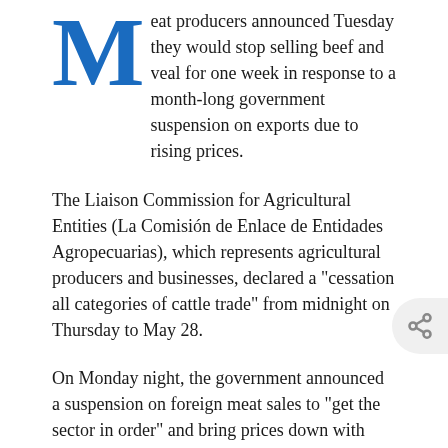Meat producers announced Tuesday they would stop selling beef and veal for one week in response to a month-long government suspension on exports due to rising prices.
The Liaison Commission for Agricultural Entities (La Comisión de Enlace de Entidades Agropecuarias), which represents agricultural producers and businesses, declared a "cessation all categories of cattle trade" from midnight on Thursday to May 28.
On Monday night, the government announced a suspension on foreign meat sales to "get the sector in order" and bring prices down with...